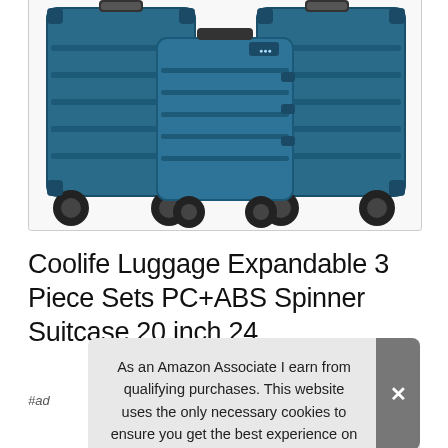[Figure (photo): Three blue hard-shell spinner suitcases (luggage set) arranged together on white background, showing large, medium, and small sizes, all with black wheels and horizontal ribbed design]
Coolife Luggage Expandable 3 Piece Sets PC+ABS Spinner Suitcase 20 inch 24
#ad
As an Amazon Associate I earn from qualifying purchases. This website uses the only necessary cookies to ensure you get the best experience on our website. More information